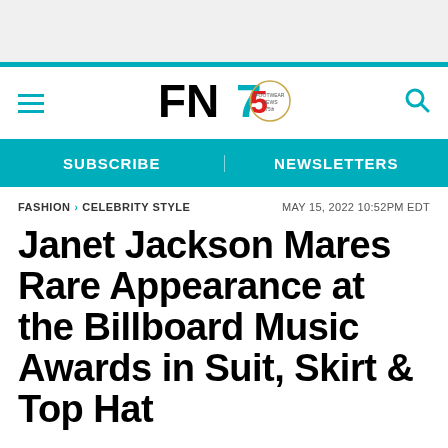[Figure (logo): FN75 Footwear News logo with teal and black lettering and anniversary badge]
SUBSCRIBE | NEWSLETTERS
FASHION › CELEBRITY STYLE — MAY 15, 2022 10:52PM EDT
Janet Jackson Mares Rare Appearance at the Billboard Music Awards in Suit, Skirt & Top Hat